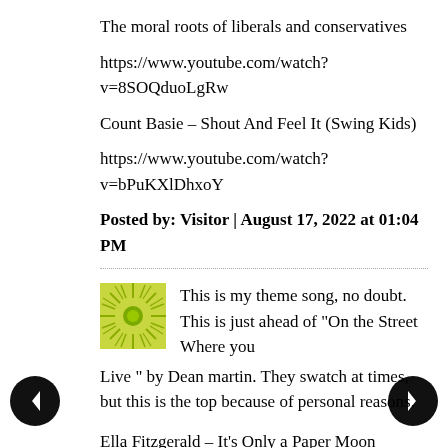The moral roots of liberals and conservatives
https://www.youtube.com/watch?v=8SOQduoLgRw
Count Basie – Shout And Feel It (Swing Kids)
https://www.youtube.com/watch?v=bPuKXlDhxoY
Posted by: Visitor | August 17, 2022 at 01:04 PM
[Figure (illustration): Green sunburst/radial pattern avatar icon, square, lime green color]
This is my theme song, no doubt. This is just ahead of "On the Street Where you Live " by Dean martin. They swatch at times, but this is the top because of personal reasons.
Ella Fitzgerald – It's Only a Paper Moon